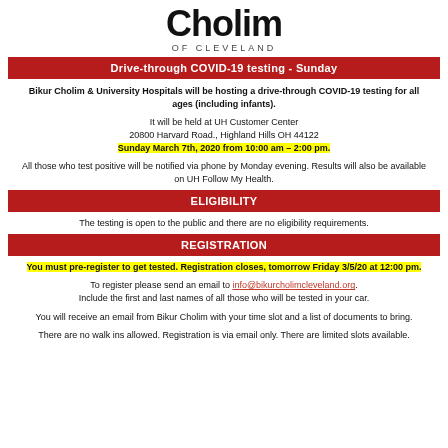Cholim of Cleveland
Drive-through COVID-19 testing - Sunday
Bikur Cholim & University Hospitals will be hosting a drive-through COVID-19 testing for all ages (including infants).
It will be held at UH Customer Center 20800 Harvard Road., Highland Hills OH 44122 Sunday March 7th, 2020 from 10:00 am – 2:00 pm.
All those who test positive will be notified via phone by Monday evening. Results will also be available on UH Follow My Health.
ELIGIBILITY
The testing is open to the public and there are no eligibility requirements.
REGISTRATION
You must pre-register to get tested. Registration closes, tomorrow Friday 3/5/20 at 12:00 pm.
To register please send an email to info@bikurcholimcleveland.org. Include the first and last names of all those who will be tested in your car.
You will receive an email from Bikur Cholim with your time slot and a list of documents to bring.
There are no walk ins allowed. Registration is via email only. There are limited slots available.